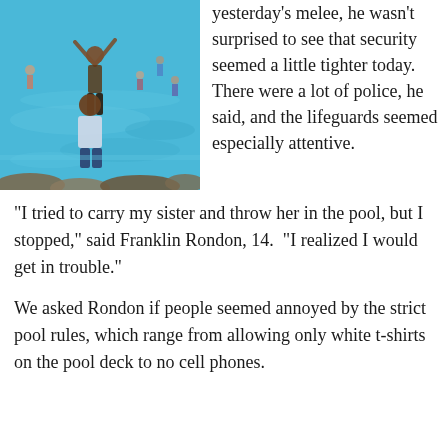[Figure (photo): A crowded outdoor water park pool with people wading in shallow blue water. A person with arms raised is visible in the center, and others are visible throughout the pool area with rocks in the foreground.]
yesterday's melee, he wasn't surprised to see that security seemed a little tighter today.  There were a lot of police, he said, and the lifeguards seemed especially attentive.
“I tried to carry my sister and throw her in the pool, but I stopped,” said Franklin Rondon, 14.  “I realized I would get in trouble.”
We asked Rondon if people seemed annoyed by the strict pool rules, which range from allowing only white t-shirts on the pool deck to no cell phones.